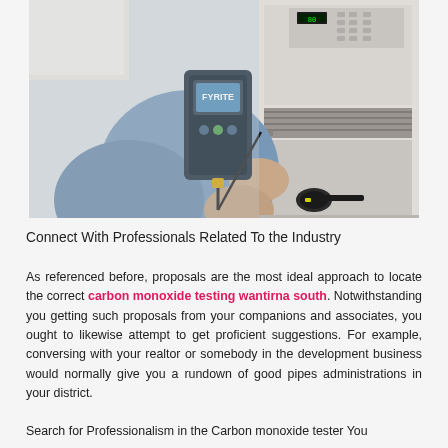[Figure (photo): A technician in a blue shirt holds a handheld carbon monoxide testing device (FYRITE brand) with a probe inserted into a wall-mounted appliance, likely a furnace or boiler, in a residential setting.]
Connect With Professionals Related To the Industry
As referenced before, proposals are the most ideal approach to locate the correct carbon monoxide testing wantirna south. Notwithstanding you getting such proposals from your companions and associates, you ought to likewise attempt to get proficient suggestions. For example, conversing with your realtor or somebody in the development business would normally give you a rundown of good pipes administrations in your district.
Search for Professionalism in the Carbon monoxide tester You